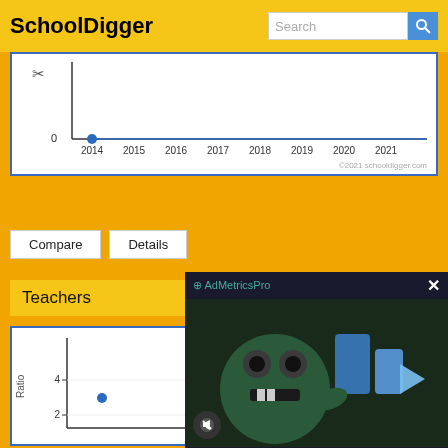SchoolDigger
[Figure (continuous-plot): Line chart showing trend data from 2014 to 2021, with a single data point at 0 in 2014. Y-axis appears to start below 0 with a scissors icon label. X-axis shows years 2014-2021. Copyright 2021 schooldigger.com shown at bottom right.]
Compare
Details
Teachers
[Figure (continuous-plot): Line chart titled 'Stude...' (Student-Teacher Ratio). Y-axis labeled 'Ratio', shows values 2 and 4. A single data point visible at approximately y=3 near 2014. Chart is partially obscured by an ad overlay.]
[Figure (other): AdMetricsPro video advertisement overlay showing a cartoon monster character with blue geometric shapes. Has a close button (X) in top right and a mute button in bottom left.]